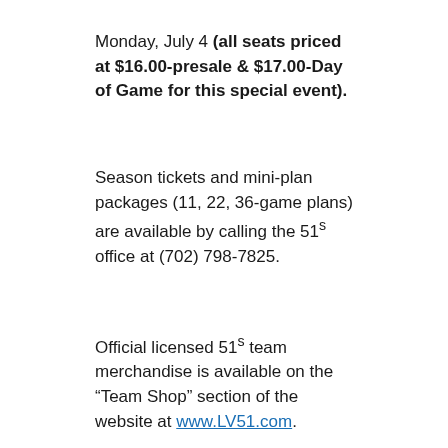Monday, July 4 (all seats priced at $16.00-presale & $17.00-Day of Game for this special event).
Season tickets and mini-plan packages (11, 22, 36-game plans) are available by calling the 51s office at (702) 798-7825.
Official licensed 51s team merchandise is available on the “Team Shop” section of the website at www.LV51.com.